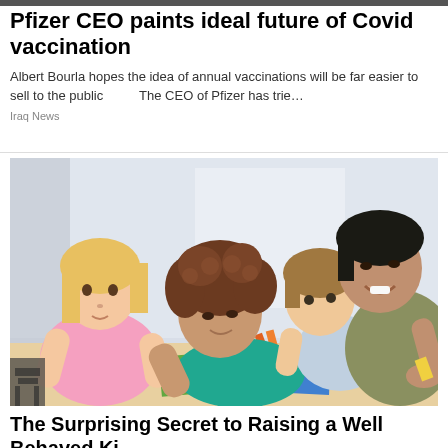Pfizer CEO paints ideal future of Covid vaccination
Albert Bourla hopes the idea of annual vaccinations will be far easier to sell to the public      The CEO of Pfizer has trie…
Iraq News
[Figure (photo): A family with two children doing a craft activity together at a table, cutting colored paper]
The Surprising Secret to Raising a Well Behaved Ki…